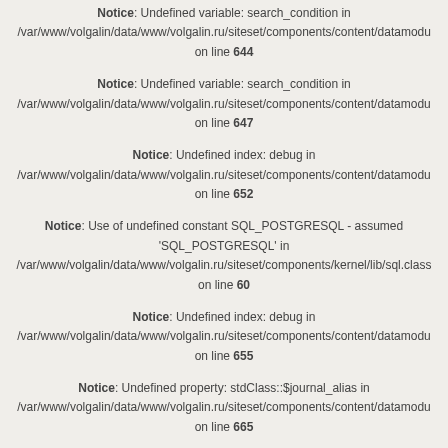Notice: Undefined variable: search_condition in /var/www/volgalin/data/www/volgalin.ru/siteset/components/content/datamodu on line 644
Notice: Undefined variable: search_condition in /var/www/volgalin/data/www/volgalin.ru/siteset/components/content/datamodu on line 647
Notice: Undefined index: debug in /var/www/volgalin/data/www/volgalin.ru/siteset/components/content/datamodu on line 652
Notice: Use of undefined constant SQL_POSTGRESQL - assumed 'SQL_POSTGRESQL' in /var/www/volgalin/data/www/volgalin.ru/siteset/components/kernel/lib/sql.class on line 60
Notice: Undefined index: debug in /var/www/volgalin/data/www/volgalin.ru/siteset/components/content/datamodu on line 655
Notice: Undefined property: stdClass::$journal_alias in /var/www/volgalin/data/www/volgalin.ru/siteset/components/content/datamodu on line 665
Notice: Undefined property: stdClass::$journal_name in /var/www/volgalin/data/www/volgalin.ru/siteset/components/content/datamodu